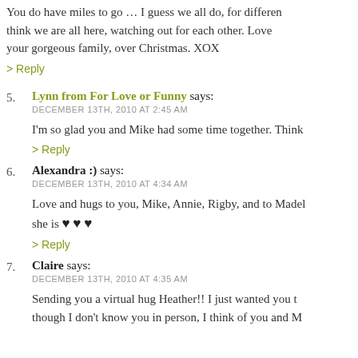You do have miles to go … I guess we all do, for different reasons … I think we are all here, watching out for each other. Love seeing your gorgeous family, over Christmas. XOX
> Reply
5. Lynn from For Love or Funny says:
DECEMBER 13TH, 2010 AT 2:45 AM
I'm so glad you and Mike had some time together. Think…
> Reply
6. Alexandra :) says:
DECEMBER 13TH, 2010 AT 4:34 AM
Love and hugs to you, Mike, Annie, Rigby, and to Madeleine… she is ♥ ♥ ♥
> Reply
7. Claire says:
DECEMBER 13TH, 2010 AT 4:35 AM
Sending you a virtual hug Heather!! I just wanted you to know that though I don't know you in person, I think of you and M…